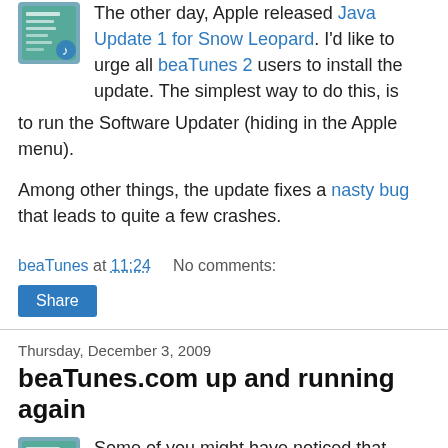The other day, Apple released Java Update 1 for Snow Leopard. I'd like to urge all beaTunes 2 users to install the update. The simplest way to do this, is to run the Software Updater (hiding in the Apple menu).
Among other things, the update fixes a nasty bug that leads to quite a few crashes.
beaTunes at 11:24    No comments:
Share
Thursday, December 3, 2009
beaTunes.com up and running again
Some of you might have noticed that sometimes beatunes.com wasn't accessible during the last couple of days or that emails to support@beaTunes.com bounced back. Well, we had some troubles with our server, which should be solved now.